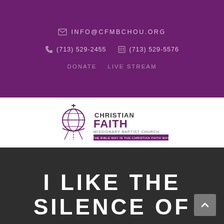INFO@CFMBCHOU.ORG
(713) 529-2455   (713) 529-5576
DONATE   LIVE STREAM
[Figure (logo): Christian Faith Missionary Baptist Church logo with globe/cross icon and tagline 'THE BIBLE WAY IS THE CHRISTIAN FAITH WAY']
I LIKE THE SILENCE OF